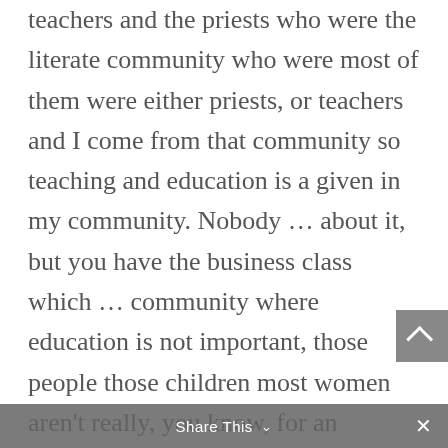teachers and the priests who were the literate community who were most of them were either priests, or teachers and I come from that community so teaching and education is a given in my community. Nobody … about it, but you have the business class which … community where education is not important, those people those children most women aren't really, you know, for an entrepreneurial sort of environment … Those kids are born thinking doing business from day one, you know, you will see a five year old and a six year old negotiating over chocolate or a coffee or